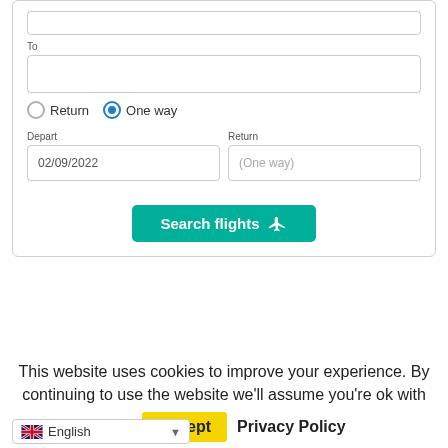[Figure (screenshot): Flight search form with 'To' field, Return/One way radio buttons, Depart (02/09/2022) and Return (One way) date fields, and a teal 'Search flights' button]
[Figure (logo): Airline logos collage: Thomsonfly, flythomascook.com, easyJet, jet2.com, RYANAIR, British Airways, flybe.]
This website uses cookies to improve your experience. By continuing to use the website we'll assume you're ok with this.
Accept
Privacy Policy
English